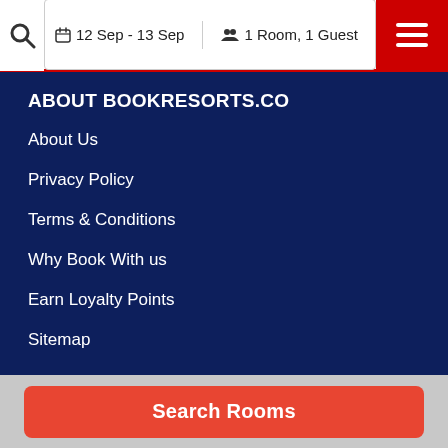12 Sep - 13 Sep   1 Room, 1 Guest
ABOUT BOOKRESORTS.CO
About Us
Privacy Policy
Terms & Conditions
Why Book With us
Earn Loyalty Points
Sitemap
TOP DESTINATION IN US
New York City (NY) Hotels
Search Rooms